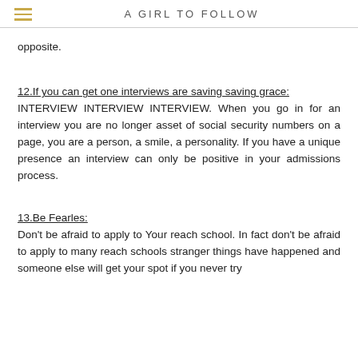A GIRL TO FOLLOW
opposite.
12.If you can get one interviews are saving saving grace:
INTERVIEW INTERVIEW INTERVIEW. When you go in for an interview you are no longer asset of social security numbers on a page, you are a person, a smile, a personality. If you have a unique presence an interview can only be positive in your admissions process.
13.Be Fearles:
Don't be afraid to apply to Your reach school. In fact don't be afraid to apply to many reach schools stranger things have happened and someone else will get your spot if you never try